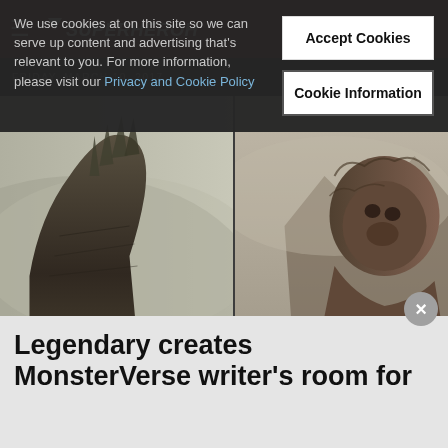SUPERHEROHYPE
We use cookies at on this site so we can serve up content and advertising that's relevant to you. For more information, please visit our Privacy and Cookie Policy
Accept Cookies
Cookie Information
FRIDAY, MARCH 10, 2017
[Figure (photo): Side-by-side image of Godzilla (left) and King Kong (right) facing each other against a misty background]
Legendary creates MonsterVerse writer's room for